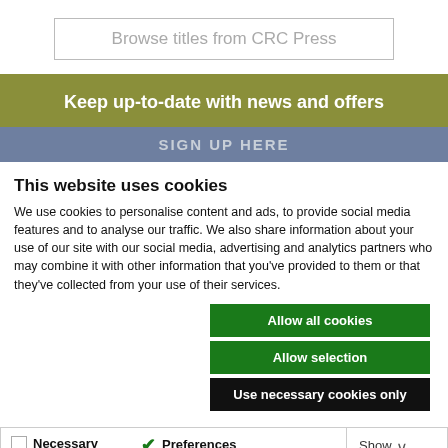[Figure (screenshot): Button: Browse titles from CRC Press, grey bordered rectangle]
[Figure (screenshot): Olive/khaki banner with text 'Keep up-to-date with news and offers' and a grey 'SIGN UP HERE' button]
This website uses cookies
We use cookies to personalise content and ads, to provide social media features and to analyse our traffic. We also share information about your use of our site with our social media, advertising and analytics partners who may combine it with other information that you've provided to them or that they've collected from your use of their services.
Allow all cookies
Allow selection
Use necessary cookies only
Necessary  Preferences  Statistics  Marketing  Show details